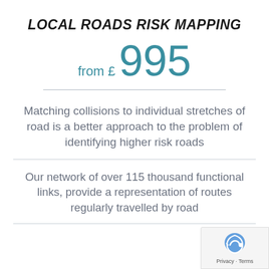LOCAL ROADS RISK MAPPING
from £ 995
Matching collisions to individual stretches of road is a better approach to the problem of identifying higher risk roads
Our network of over 115 thousand functional links, provide a representation of routes regularly travelled by road